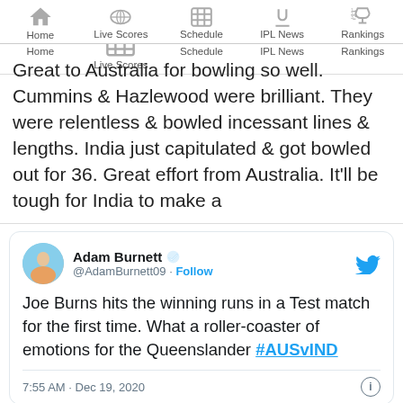Home | Live Scores | Schedule | IPL News | Rankings
Great to Australia for bowling so well. Cummins & Hazlewood were brilliant. They were relentless & bowled incessant lines & lengths. India just capitulated & got bowled out for 36. Great effort from Australia. It'll be tough for India to make a
[Figure (screenshot): Tweet by Adam Burnett (@AdamBurnett09): Joe Burns hits the winning runs in a Test match for the first time. What a roller-coaster of emotions for the Queenslander #AUSvIND — 7:55 AM · Dec 19, 2020]
W…W………1..2…WW.W
Josh Hazlewood has a five-wicket haul in just 25 deliveries #AUSvIND